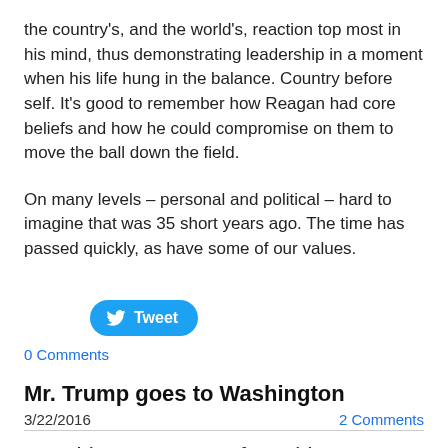the country's, and the world's, reaction top most in his mind, thus demonstrating leadership in a moment when his life hung in the balance. Country before self. It's good to remember how Reagan had core beliefs and how he could compromise on them to move the ball down the field.
On many levels – personal and political – hard to imagine that was 35 short years ago. The time has passed quickly, as have some of our values.
[Figure (other): Twitter Tweet button (blue rounded button with bird icon and 'Tweet' text)]
0 Comments
Mr. Trump goes to Washington
3/22/2016
2 Comments
Donald Trump's tour of Washington, D.C., yesterday – ed board at the Washington Post, speech at a major Jewish organization, press